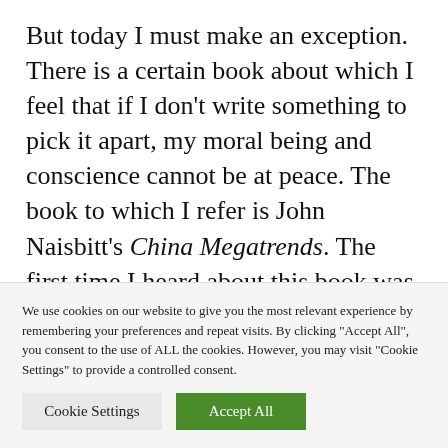But today I must make an exception. There is a certain book about which I feel that if I don't write something to pick it apart, my moral being and conscience cannot be at peace. The book to which I refer is John Naisbitt's China Megatrends. The first time I heard about this book was when Dong Jianhua (董建华), deputy chairman of the National People's Political
We use cookies on our website to give you the most relevant experience by remembering your preferences and repeat visits. By clicking "Accept All", you consent to the use of ALL the cookies. However, you may visit "Cookie Settings" to provide a controlled consent.